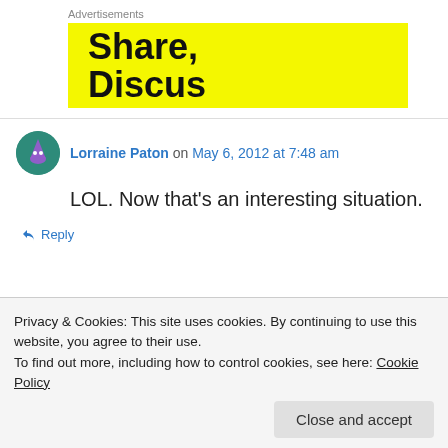Advertisements
[Figure (illustration): Yellow advertisement banner with bold text reading 'Share, Discus...' (partially visible)]
Lorraine Paton on May 6, 2012 at 7:48 am
LOL. Now that's an interesting situation.
Reply
Privacy & Cookies: This site uses cookies. By continuing to use this website, you agree to their use.
To find out more, including how to control cookies, see here: Cookie Policy